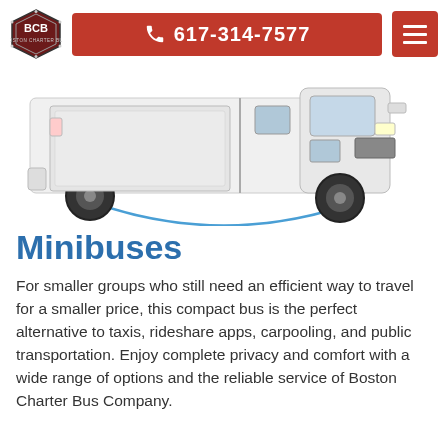BCB Boston Charter Bus | 617-314-7577
[Figure (photo): White minibus/compact charter bus vehicle shown from a side-front angle with a blue curved line decoration underneath]
Minibuses
For smaller groups who still need an efficient way to travel for a smaller price, this compact bus is the perfect alternative to taxis, rideshare apps, carpooling, and public transportation. Enjoy complete privacy and comfort with a wide range of options and the reliable service of Boston Charter Bus Company.